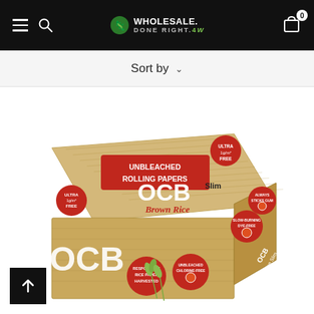Wholesale Done Right — navigation bar with hamburger menu, search, logo, and cart (0)
Sort by
[Figure (photo): Box of OCB Brown Rice Slim Unbleached Rolling Papers. The box has a bamboo/wood-textured surface with red circular badge logos reading: ULTRA 1g/m2 FREE; UNBLEACHED ROLLING PAPERS (red banner); OCB Slim; Brown Rice; RESPONSIBLY RICE PAPER HARVESTED; UNBLEACHED CHLORINE-FREE; SLOW-BURNING DYE-FREE; ALWAYS STICKS GUM. On the side: OCB Brown Rice Slim.]